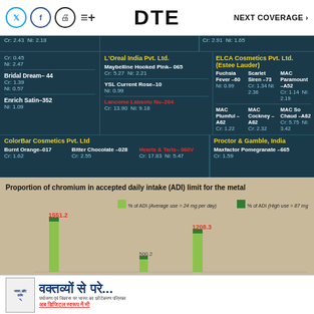DTE  NEXT COVERAGE >
| Brand/Product | Cr | Ni |
| --- | --- | --- |
| Cr: 0.45  Ni: 2.47 |  |  |
| Bridal Dream–44  Cr: 1.39  Ni: 0.57 |  |  |
| Enrich Satin–352  Ni: 1.09 |  |  |
| L'Oreal India Pvt. Ltd. |  |  |
| Maybelline Hooked Pink–065  Cr: 5.27  Ni: 2.21 |  |  |
| YSL Current Rose–10  Ni: 0.99 |  |  |
| Lancome Labsolu Nu–204  Cr: 13.90  Ni: 9.18 |  |  |
| ELCA Cosmetics Pvt. Ltd. (Estee Lauder) |  |  |
| Fuchsia Fever–60  Ni: 0.99 | Scarlet Siren–73  Cr: 1.34  Ni: 2.36 | MAC Paramount–A52  Cr: 1.14  Ni: 2.19 |
| MAC Plumful–A62  Cr: 1.22 | MAC Cockney–A82  Cr: 2.32 | MAC So Chaud–A82  Cr: 5.75  Ni: 3.42 |
| ColorBar Cosmetics Pvt. Ltd |  |  |
| Burnt Orange–017  Cr: 1.62 | Bitter Chocolate–028  Cr: 2.55 | Hearts & Tarts–060V  Cr: 17.83  Ni: 5.47 |
| Proctor & Gamble, India |  |  |
| Maxfactor Pomegranate–665  Cr: 1.59 |  |  |
Proportion of chromium in accepted daily intake (ADI) limit for the metal
[Figure (bar-chart): Proportion of chromium in accepted daily intake (ADI) limit for the metal]